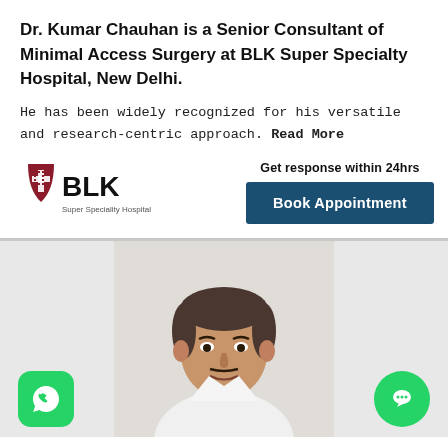Dr. Kumar Chauhan is a Senior Consultant of Minimal Access Surgery at BLK Super Specialty Hospital, New Delhi.
He has been widely recognized for his versatile and research-centric approach. Read More
[Figure (logo): BLK Super Speciality Hospital logo with shield icon and text]
Get response within 24hrs
Book Appointment
[Figure (photo): Portrait photo of Dr. Kumar Chauhan in white coat, middle-aged Indian male doctor]
[Figure (logo): WhatsApp icon button at bottom left]
[Figure (logo): Chat/message icon button at bottom right]